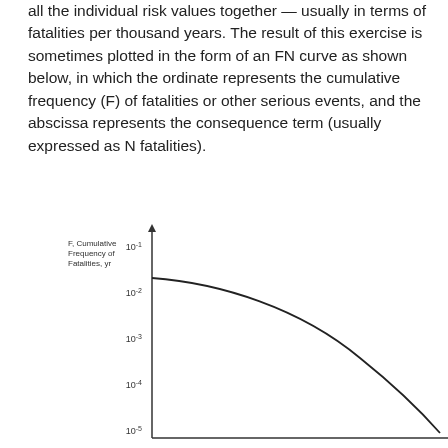all the individual risk values together — usually in terms of fatalities per thousand years. The result of this exercise is sometimes plotted in the form of an FN curve as shown below, in which the ordinate represents the cumulative frequency (F) of fatalities or other serious events, and the abscissa represents the consequence term (usually expressed as N fatalities).
[Figure (continuous-plot): FN curve showing cumulative frequency F (fatalities/yr) on y-axis (log scale: 10^-1 to 10^-5) vs N fatalities on x-axis. The curve starts at around 10^-1.5 on the left and decreases steeply to approximately 10^-5 at the right edge, showing a downward concave curve typical of FN risk diagrams.]